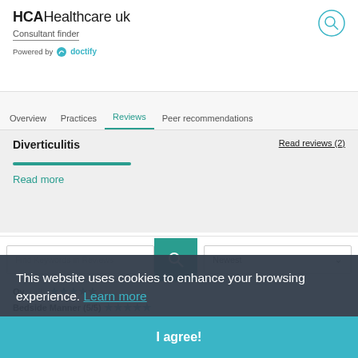HCAHealthcare uk Consultant finder Powered by doctify
Overview | Practices | Reviews | Peer recommendations
Diverticulitis
Read reviews (2)
Read more
Find Keywords in Reviews
Newest
Overall
Bedside Manner (5/5)
Explanation (5/5)
This website uses cookies to enhance your browsing experience. Learn more
I agree!